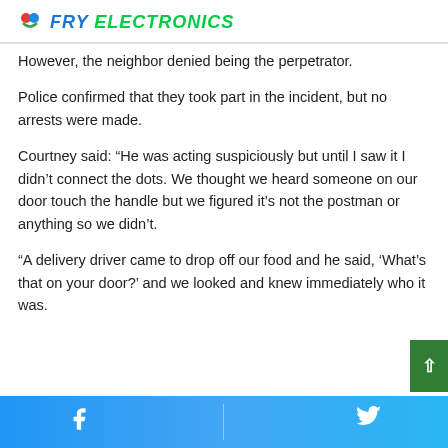FRY ELECTRONICS
However, the neighbor denied being the perpetrator.
Police confirmed that they took part in the incident, but no arrests were made.
Courtney said: “He was acting suspiciously but until I saw it I didn’t connect the dots. We thought we heard someone on our door touch the handle but we figured it’s not the postman or anything so we didn’t.
“A delivery driver came to drop off our food and he said, ‘What’s that on your door?’ and we looked and knew immediately who it was.
Facebook | Twitter